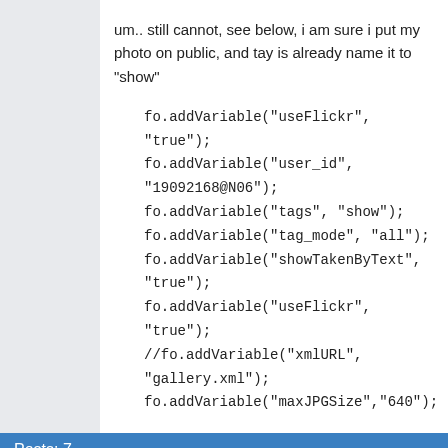um.. still cannot, see below, i am sure i put my photo on public, and tay is already name it to "show"
fo.addVariable("useFlickr", "true");
fo.addVariable("user_id", "19092168@N06");
fo.addVariable("tags", "show");
fo.addVariable("tag_mode", "all");
fo.addVariable("showTakenByText", "true");
fo.addVariable("useFlickr", "true");
//fo.addVariable("xmlURL", "gallery.xml");
fo.addVariable("maxJPGSize","640");
Posts: 7
Pages   1
You must login or register to post a reply
SimpleViewer Forum → TiltViewer → Flickr set_id don't